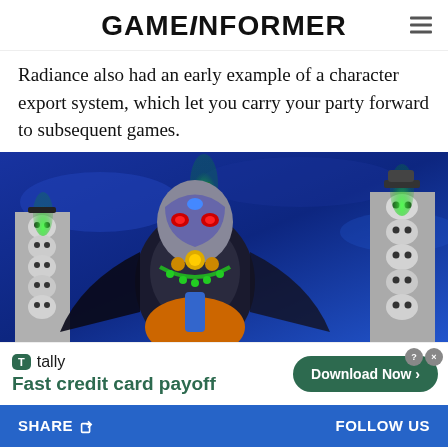GAMEINFORMER
Radiance also had an early example of a character export system, which let you carry your party forward to subsequent games.
[Figure (screenshot): Video game screenshot showing a dark fantasy character with red glowing eyes, armor decorated with jewels and beads, set against a blue background with pillars made of skulls and green flame torches.]
tally Fast credit card payoff Download Now
SHARE   FOLLOW US